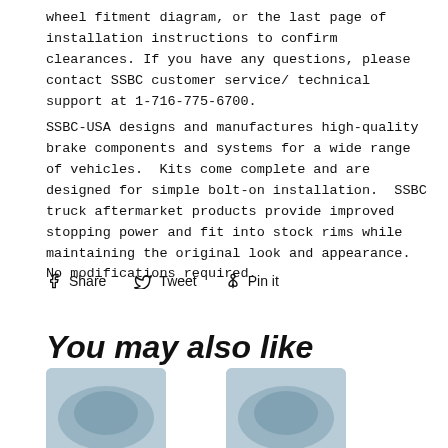wheel fitment diagram, or the last page of installation instructions to confirm clearances. If you have any questions, please contact SSBC customer service/ technical support at 1-716-775-6700.
SSBC-USA designs and manufactures high-quality brake components and systems for a wide range of vehicles. Kits come complete and are designed for simple bolt-on installation. SSBC truck aftermarket products provide improved stopping power and fit into stock rims while maintaining the original look and appearance. No modifications required.
Share   Tweet   Pin it
You may also like
[Figure (photo): Two partial product images at the bottom of the page showing brake components]